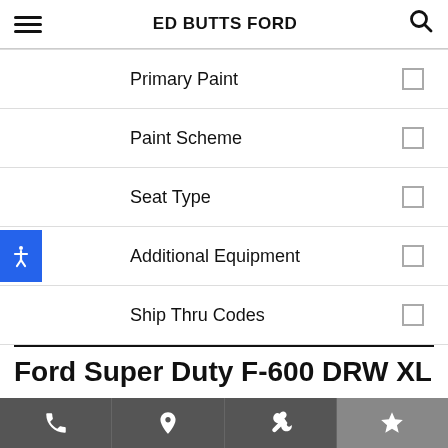ED BUTTS FORD
Primary Paint
Paint Scheme
Seat Type
Additional Equipment
Ship Thru Codes
Ford Super Duty F-600 DRW XL
Navigation bar with phone, location, wrench, and star icons